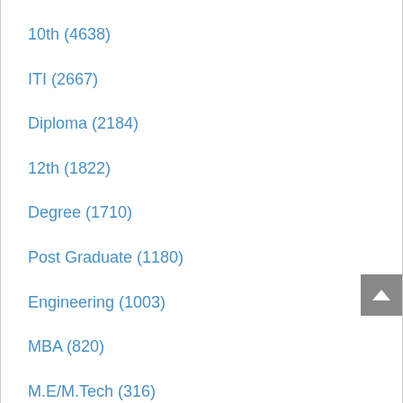10th (4638)
ITI (2667)
Diploma (2184)
12th (1822)
Degree (1710)
Post Graduate (1180)
Engineering (1003)
MBA (820)
M.E/M.Tech (316)